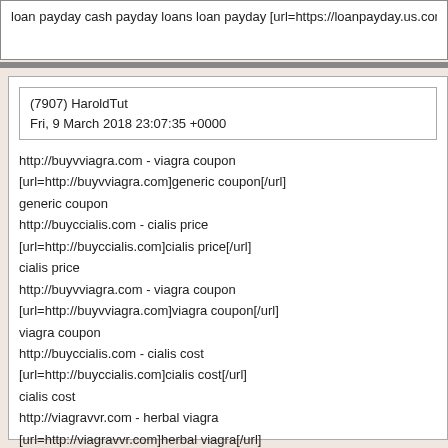loan payday cash payday loans loan payday [url=https://loanpayday.us.com]loan payd
(7907) HaroldTut
Fri, 9 March 2018 23:07:35 +0000
http://buyvviagra.com - viagra coupon
[url=http://buyvviagra.com]generic coupon[/url]
generic coupon
http://buyccialis.com - cialis price
[url=http://buyccialis.com]cialis price[/url]
cialis price
http://buyvviagra.com - viagra coupon
[url=http://buyvviagra.com]viagra coupon[/url]
viagra coupon
http://buyccialis.com - cialis cost
[url=http://buyccialis.com]cialis cost[/url]
cialis cost
http://viagravvr.com - herbal viagra
[url=http://viagravvr.com]herbal viagra[/url]
herbal viagra